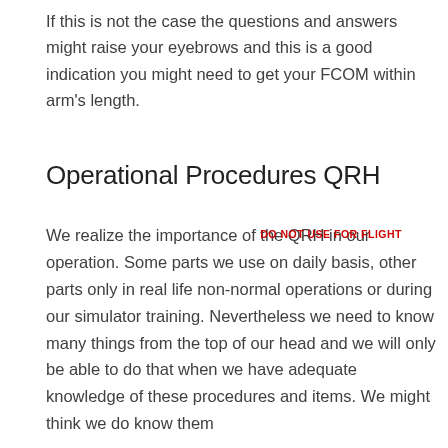If this is not the case the questions and answers might raise your eyebrows and this is a good indication you might need to get your FCOM within arm's length.
Operational Procedures QRH
We realize the importance of the QRH in our operation. Some parts we use on daily basis, other parts only in real life non-normal operations or during our simulator training. Nevertheless we need to know many things from the top of our head and we will only be able to do that when we have adequate knowledge of these procedures and items. We might think we do know them
DO NOT USE FOR FLIGHT